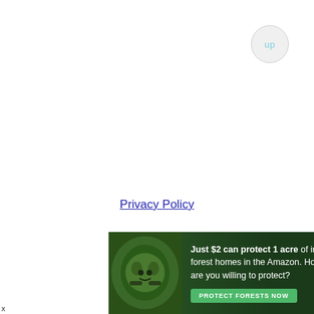[Figure (other): Circular 'up' navigation button in top right corner, light gray with light blue text]
Privacy Policy
[Figure (other): Advertisement banner: forest/Amazon themed ad reading 'Just $2 can protect 1 acre of irreplaceable forest homes in the Amazon. How many acres are you willing to protect?' with a green 'PROTECT FORESTS NOW' button and an image of a sloth on the left]